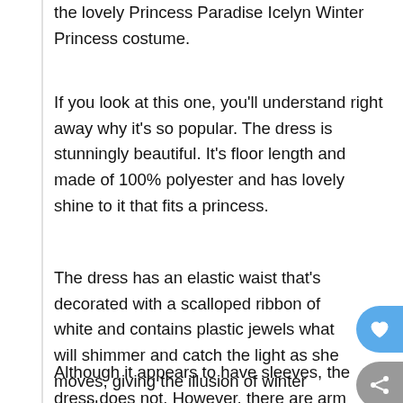the lovely Princess Paradise Icelyn Winter Princess costume.
If you look at this one, you'll understand right away why it's so popular. The dress is stunningly beautiful. It's floor length and made of 100% polyester and has lovely shine to it that fits a princess.
The dress has an elastic waist that's decorated with a scalloped ribbon of white and contains plastic jewels what will shimmer and catch the light as she moves, giving the illusion of winter sparkle.
Although it appears to have sleeves, the dress does not. However, there are arm